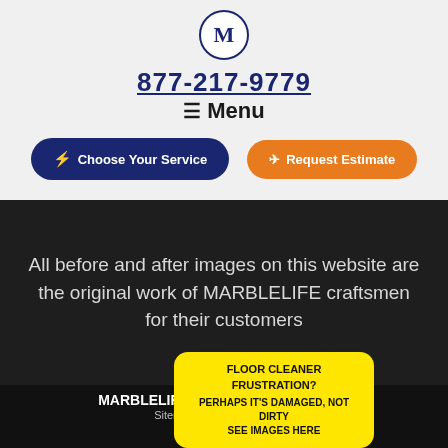[Figure (logo): MARBLELIFE M logo in a circle]
877-217-9779
≡ Menu
⚡ Choose Your Service
➤ Request Estimate
All before and after images on this website are the original work of MARBLELIFE craftsmen for their customers
MARBLELIFE® Northeast Florida 2022
Sitemap | Privacy Policy |
[Figure (logo): Facebook icon]
[Figure (logo): Google icon]
FLOOR CLEANER FRUSTRATION?
PERHAPS IT'S DAMAGED, NOT DIRTY
SEE IMAGES HERE